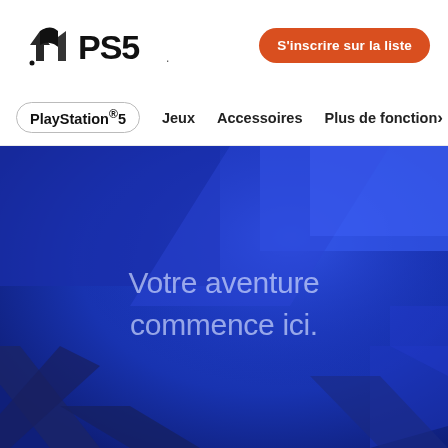[Figure (logo): PlayStation PS5 logo — PlayStation symbol (circle with arrow shapes) followed by PS5 wordmark in black]
S'inscrire sur la liste
PlayStation®5   Jeux   Accessoires   Plus de fonction>
[Figure (illustration): Hero banner with deep blue background featuring large abstract PS5 cross/X shapes in darker blue tones, with center text reading 'Votre aventure commence ici.']
Votre aventure commence ici.